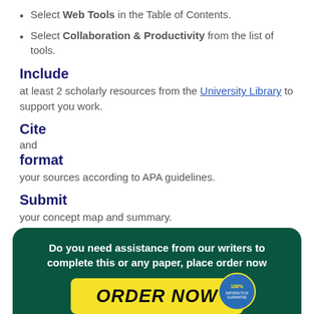Select Web Tools in the Table of Contents.
Select Collaboration & Productivity from the list of tools.
Include
at least 2 scholarly resources from the University Library to support you work.
Cite
and
format
your sources according to APA guidelines.
Submit
your concept map and summary.
[Figure (infographic): Dark green banner with white bold text 'Do you need assistance from our writers to complete this or any paper, place order now' and a yellow ORDER NOW button with a 100% guarantee badge.]